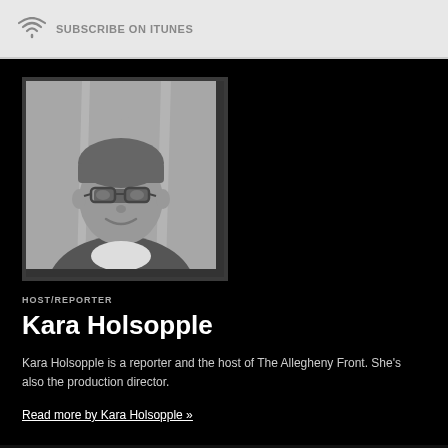SUBSCRIBE ON ITUNES
[Figure (photo): Black and white headshot of Kara Holsopple, a woman with short hair and glasses, smiling.]
HOST/REPORTER
Kara Holsopple
Kara Holsopple is a reporter and the host of The Allegheny Front. She's also the production director.
Read more by Kara Holsopple »